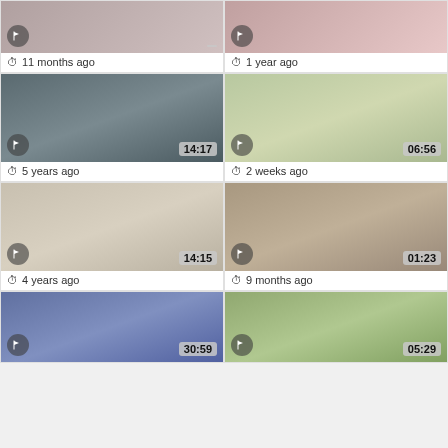[Figure (screenshot): Video thumbnail grid item - 11 months ago]
11 months ago
[Figure (screenshot): Video thumbnail grid item - 1 year ago]
1 year ago
[Figure (screenshot): Video thumbnail 14:17 - 5 years ago]
5 years ago
[Figure (screenshot): Video thumbnail 06:56 - 2 weeks ago]
2 weeks ago
[Figure (screenshot): Video thumbnail 14:15 - 4 years ago]
4 years ago
[Figure (screenshot): Video thumbnail 01:23 - 9 months ago]
9 months ago
[Figure (screenshot): Video thumbnail 30:59]
[Figure (screenshot): Video thumbnail 05:29]